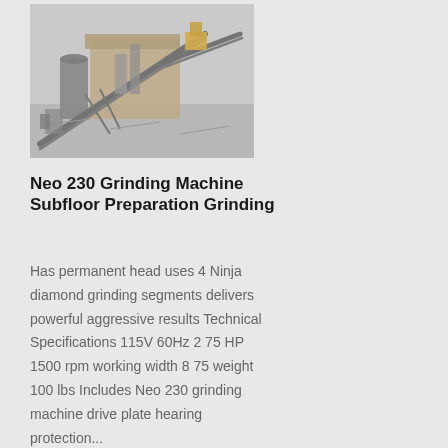[Figure (photo): Industrial quarry or mining/grinding facility showing conveyor belts, machinery, and industrial equipment covered in dust or snow, with large processing structures in the background.]
Neo 230 Grinding Machine Subfloor Preparation Grinding
Has permanent head uses 4 Ninja diamond grinding segments delivers powerful aggressive results Technical Specifications 115V 60Hz 2 75 HP 1500 rpm working width 8 75 weight 100 lbs Includes Neo 230 grinding machine drive plate hearing protection...